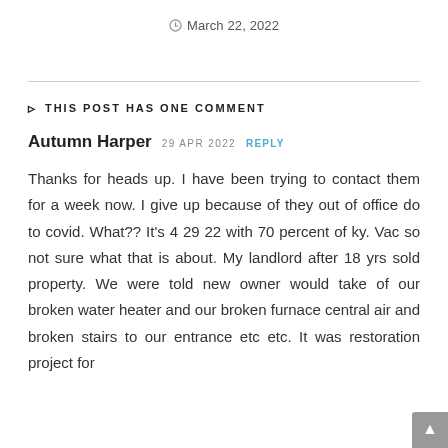March 22, 2022
THIS POST HAS ONE COMMENT
Autumn Harper  29 APR 2022  REPLY
Thanks for heads up. I have been trying to contact them for a week now. I give up because of they out of office do to covid. What?? It's 4 29 22 with 70 percent of ky. Vac so not sure what that is about. My landlord after 18 yrs sold property. We were told new owner would take of our broken water heater and our broken furnace central air and broken stairs to our entrance etc etc. It was restoration project for